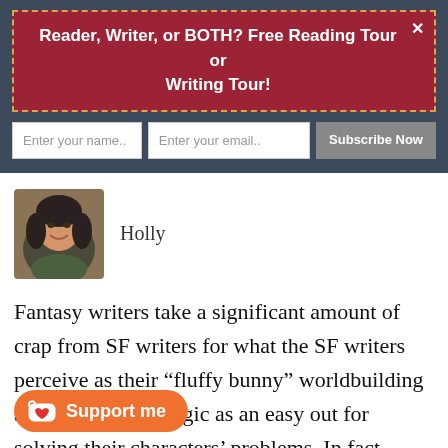Reader, Writer, or BOTH? Free Reading Tour or Writing Tour!
Enter your name..
Enter your email..
Subscribe Now
[Figure (photo): Author photo of Holly, a woman with dark hair, smiling]
Holly
Fantasy writers take a significant amount of crap from SF writers for what the SF writers perceive as their “fluffy bunny” worldbuilding and their use of magic as an easy out for solving their characters’ problems. In fact, however, magic is no more of an [easy out for well-]written fantasy than physics is an easy way out for well-written SF. The
Support me